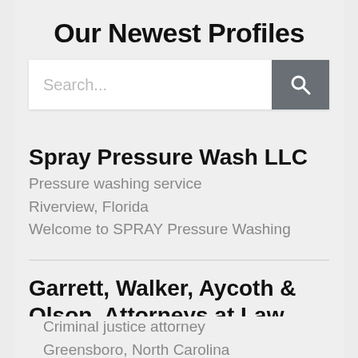Our Newest Profiles
[Figure (other): Search bar with text input showing placeholder 'Search...' and a dark gray search button with magnifying glass icon]
Spray Pressure Wash LLC
Pressure washing service
Riverview, Florida
Welcome to SPRAY Pressure Washing
Garrett, Walker, Aycoth & Olson, Attorneys at Law
Criminal justice attorney